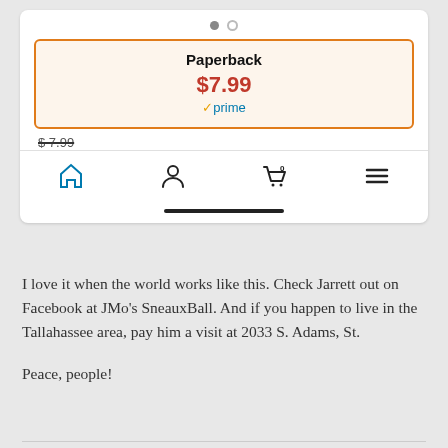[Figure (screenshot): Amazon mobile app screenshot showing a Paperback product card with price $7.99 and Prime badge, a strikethrough price, and a navigation bar with home, profile, cart, and menu icons, with a swipe indicator dots at top]
I love it when the world works like this. Check Jarrett out on Facebook at JMo’s SneauxBall. And if you happen to live in the Tallahassee area, pay him a visit at 2033 S. Adams, St.
Peace, people!